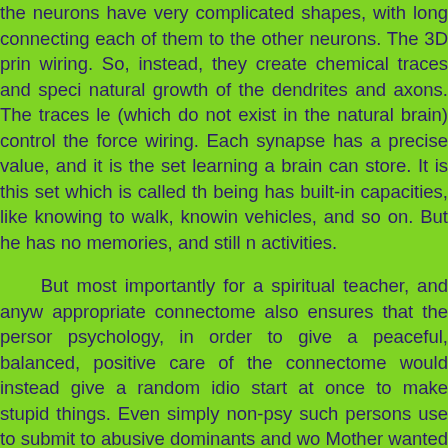the neurons have very complicated shapes, with long connecting each of them to the other neurons. The 3D prin wiring. So, instead, they create chemical traces and speci natural growth of the dendrites and axons. The traces le (which do not exist in the natural brain) control the force wiring. Each synapse has a precise value, and it is the set learning a brain can store. It is this set which is called th being has built-in capacities, like knowing to walk, knowin vehicles, and so on. But he has no memories, and still n activities.
But most importantly for a spiritual teacher, and anyw appropriate connectome also ensures that the persor psychology, in order to give a peaceful, balanced, positive care of the connectome would instead give a random idio start at once to make stupid things. Even simply non-psy such persons use to submit to abusive dominants and wo Mother wanted was intrinsically good people, and especia and understanding!
The inconvenience of this process however is that the like two months to grow. So, for two months, this unconso monitoring, and also under thorough anesthesia. Indeed than the long nerves, and it happened that newly printed p hands and feet still paralyzed. To be thus disabled in s